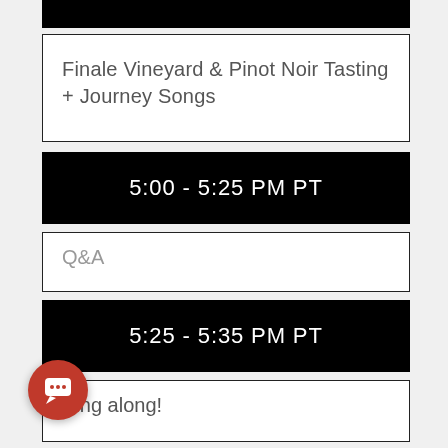[Figure (other): Black header bar at top of page]
Finale Vineyard & Pinot Noir Tasting + Journey Songs
5:00 - 5:25 PM PT
Q&A
5:25 - 5:35 PM PT
Sing along!
[Figure (illustration): Red circular chat/support button in bottom left corner]